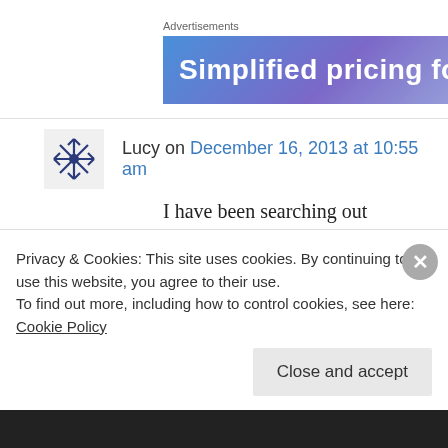Advertisements
[Figure (illustration): Advertisement banner with gradient blue/purple background showing text 'Simplified pricing for']
Lucy on December 16, 2013 at 10:55 am
I have been searching out Christmas presies for my little girl and I'm thoroughly disgusted and disappointed with the " safe" products on the
Privacy & Cookies: This site uses cookies. By continuing to use this website, you agree to their use.
To find out more, including how to control cookies, see here: Cookie Policy
Close and accept